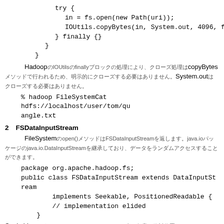try {
    in = fs.open(new Path(uri));
    IOUtils.copyBytes(in, System.out, 4096, false);
} finally {}
}
HadoopのIOUtilsのfinallyブロックの処理により、クローズ処理はcopyBytesメソッドで行われるため、明示的にクローズする必要はありません。System.outはクローズする必要はありません。
% hadoop FileSystemCat hdfs://localhost/user/tom/quangle.txt
2　FSDataInputStream
FileSystemのopen()メソッドはFSDataInputStreamを返します。java.ioパッケージのjava.io.DataInputStreamを継承しており、データをランダムアクセスすることができます。
package org.apache.hadoop.fs;
public class FSDataInputStream extends DataInputStream
        implements Seekable, PositionedReadable {
    // implementation elided
}
Seekableインターフェースはファイルシステム内の任意の絶対位置へのシークとそのインターフェースからSeekableインターフェース。